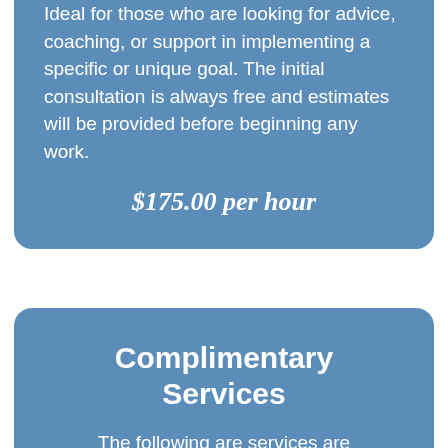Ideal for those who are looking for advice, coaching, or support in implementing a specific or unique goal. The initial consultation is always free and estimates will be provided before beginning any work.
$175.00 per hour
Complimentary Services
The following are services are